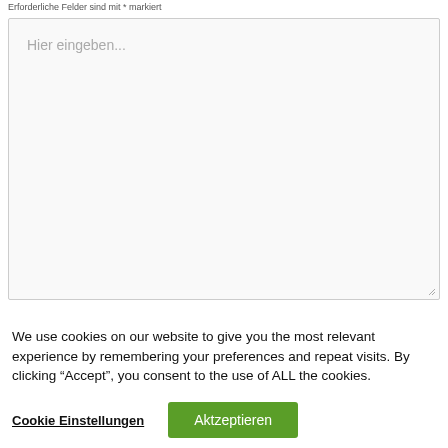Erforderliche Felder sind mit * markiert
[Figure (screenshot): Empty textarea input field with placeholder text 'Hier eingeben...' and resize handle in bottom-right corner]
We use cookies on our website to give you the most relevant experience by remembering your preferences and repeat visits. By clicking “Accept”, you consent to the use of ALL the cookies.
Cookie Einstellungen
Aktzeptieren